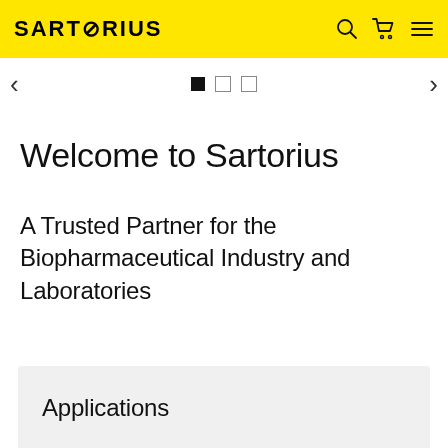SARTORIUS
[Figure (other): Carousel navigation: left arrow, three indicator dots (first filled, second and third empty), right arrow]
Welcome to Sartorius
A Trusted Partner for the Biopharmaceutical Industry and Laboratories
Applications